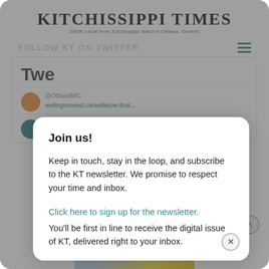Kitchissippi Times
100% Local from Kitchissippi Ward in Ottawa, Ontario
FOLLOW KT ON TWITTER
Join us!
Keep in touch, stay in the loop, and subscribe to the KT newsletter. We promise to respect your time and inbox.
Click here to sign up for the newsletter. You'll be first in line to receive the digital issue of KT, delivered right to your inbox.
@OttawaMIC
wellingtonwest.ca/welliwow-final...